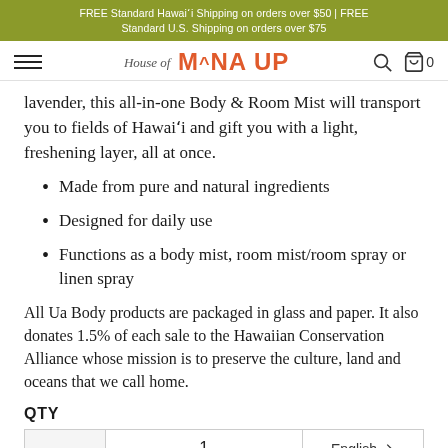FREE Standard Hawaiʻi Shipping on orders over $50 | FREE Standard U.S. Shipping on orders over $75
House of MˆNA UP
lavender, this all-in-one Body & Room Mist will transport you to fields of Hawaiʻi and gift you with a light, freshening layer, all at once.
Made from pure and natural ingredients
Designed for daily use
Functions as a body mist, room mist/room spray or linen spray
All Ua Body products are packaged in glass and paper. It also donates 1.5% of each sale to the Hawaiian Conservation Alliance whose mission is to preserve the culture, land and oceans that we call home.
QTY
1